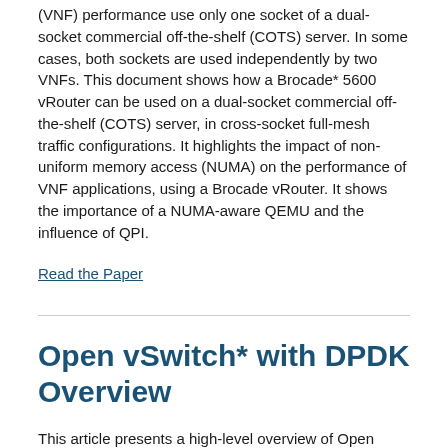(VNF) performance use only one socket of a dual-socket commercial off-the-shelf (COTS) server. In some cases, both sockets are used independently by two VNFs. This document shows how a Brocade* 5600 vRouter can be used on a dual-socket commercial off-the-shelf (COTS) server, in cross-socket full-mesh traffic configurations. It highlights the impact of non-uniform memory access (NUMA) on the performance of VNF applications, using a Brocade vRouter. It shows the importance of a NUMA-aware QEMU and the influence of QPI.
Read the Paper
Open vSwitch* with DPDK Overview
This article presents a high-level overview of Open vSwitch* with the Data Plane Development Kit (OvS-DPDK)—the high performance, open source virtual switch